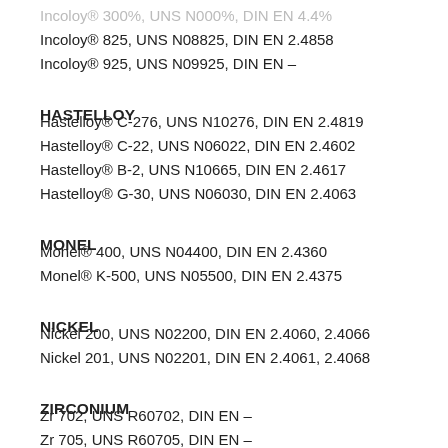Incoloy® 825, UNS N08825, DIN EN 2.4858
Incoloy® 925, UNS N09925, DIN EN –
HASTELLOY
Hastelloy® C-276, UNS N10276, DIN EN 2.4819
Hastelloy® C-22, UNS N06022, DIN EN 2.4602
Hastelloy® B-2, UNS N10665, DIN EN 2.4617
Hastelloy® G-30, UNS N06030, DIN EN 2.4063
MONEL
Monel® 400, UNS N04400, DIN EN 2.4360
Monel® K-500, UNS N05500, DIN EN 2.4375
NICKEL
Nickel 200, UNS N02200, DIN EN 2.4060, 2.4066
Nickel 201, UNS N02201, DIN EN 2.4061, 2.4068
ZIRCONIUM
Zr 702, UNS R60702, DIN EN –
Zr 705, UNS R60705, DIN EN –